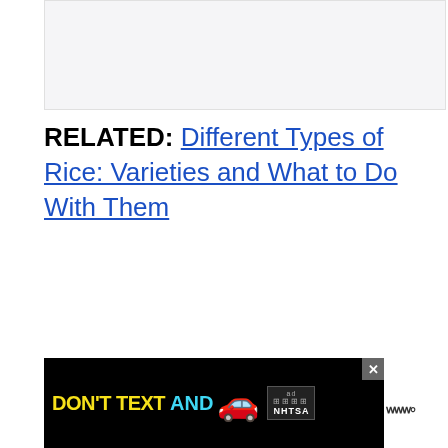[Figure (photo): Light gray image placeholder area at the top of the page]
RELATED: Different Types of Rice: Varieties and What to Do With Them
[Figure (other): Advertisement banner: DON'T TEXT AND [car emoji] with NHTSA logo and close button]